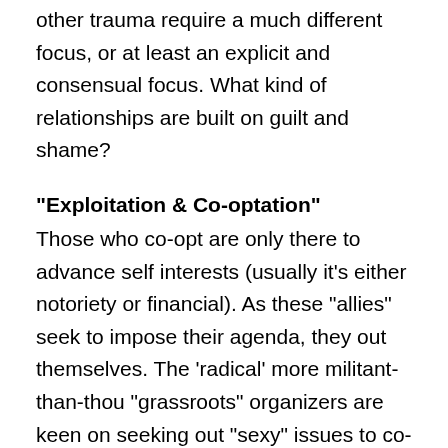other trauma require a much different focus, or at least an explicit and consensual focus. What kind of relationships are built on guilt and shame?
“Exploitation & Co-optation”
Those who co-opt are only there to advance self interests (usually it’s either notoriety or financial). As these “allies” seek to impose their agenda, they out themselves. The ‘radical’ more militant-than-thou “grassroots” organizers are keen on seeking out “sexy” issues to co-opt (for notoriety/ego/super ally/most radical ally) and they set the terms of engagement or dictate what struggles get amplified or marginalized irregardless of whose homelands they’re operating on. The nonprofit establishment or non-profit industrial complex (NPIC) also seeks out “sexy” or “fundable” issues to co-opt and exploit